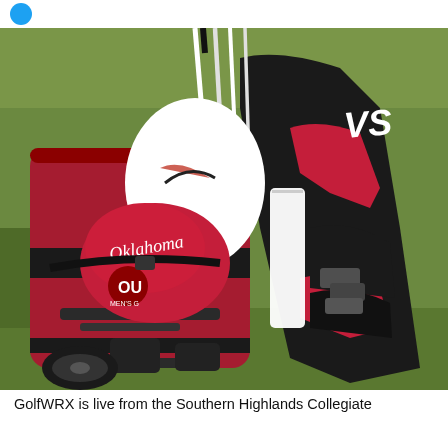[Figure (photo): Close-up photo of an Oklahoma Sooners golf bag on a cart. A red head cover with 'Oklahoma' written in white cursive script and the OU logo is visible, along with a grey/black and red staff bag with a 'VS' logo. White club shafts and iron club heads protrude from the bag. The background shows green grass/turf.]
GolfWRX is live from the Southern Highlands Collegiate